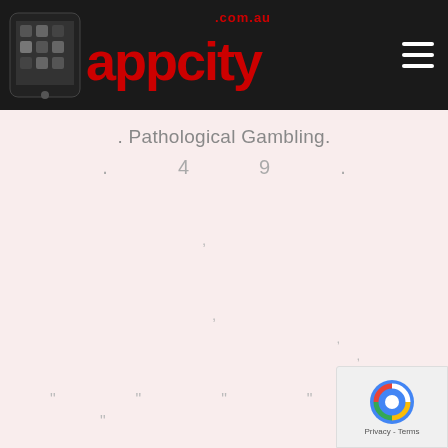[Figure (logo): AppCity.com.au website header with logo showing a phone with app icons, red 'appcity' text, and hamburger menu icon on dark background]
. Pathological Gambling.
. 4 9 .
,
,
, ,
, ,
" " " " "
"
25% 5
...